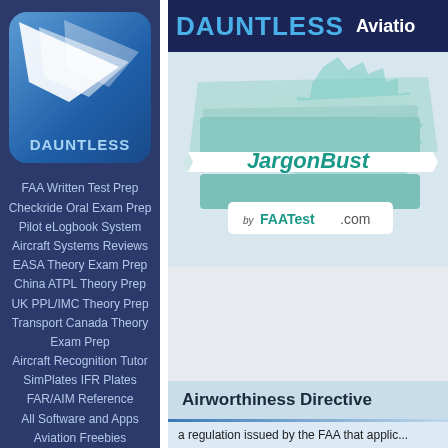[Figure (logo): Dauntless Aviation logo - blue rounded square with white wing/chevron graphic and DAUNTLESS text]
FAA Written Test Prep
Checkride Oral Exam Prep
Pilot eLogbook System
Aircraft Systems Reviews
EASA Theory Exam Prep
China ATPL Theory Prep
UK PPL/IMC Theory Prep
Transport Canada Theory Exam Prep
Aircraft Recognition Tutor
SimPlates IFR Plates
FAR/AIM Reference
All Software and Apps
Aviation Freebies
DAUNTLESS  Aviation
[Figure (logo): JargonBuster by FAATest.com promotional graphic - teal stacked book/badge design with ribbon banner]
Airworthiness Directive
a regulation issued by the FAA that applic...